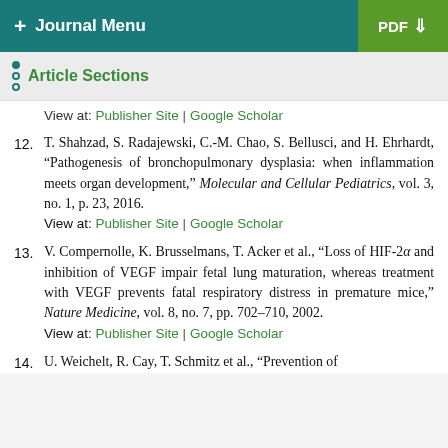+ Journal Menu | PDF
Article Sections
View at: Publisher Site | Google Scholar
12. T. Shahzad, S. Radajewski, C.-M. Chao, S. Bellusci, and H. Ehrhardt, “Pathogenesis of bronchopulmonary dysplasia: when inflammation meets organ development,” Molecular and Cellular Pediatrics, vol. 3, no. 1, p. 23, 2016.
View at: Publisher Site | Google Scholar
13. V. Compernolle, K. Brusselmans, T. Acker et al., “Loss of HIF-2α and inhibition of VEGF impair fetal lung maturation, whereas treatment with VEGF prevents fatal respiratory distress in premature mice,” Nature Medicine, vol. 8, no. 7, pp. 702–710, 2002.
View at: Publisher Site | Google Scholar
14. U. Weichelt, R. Cay, T. Schmitz et al., “Prevention of...